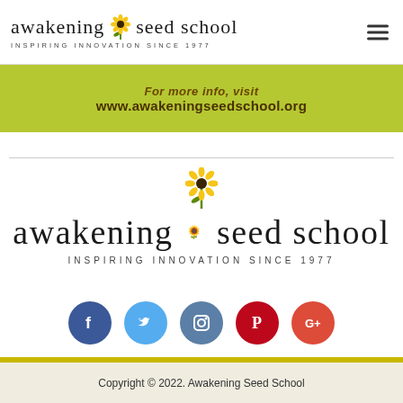awakening seed school — INSPIRING INNOVATION SINCE 1977
For more info, visit www.awakeningseedschool.org
[Figure (logo): Awakening Seed School logo with sunflower — awakening seed school, INSPIRING INNOVATION SINCE 1977]
[Figure (infographic): Social media icons row: Facebook, Twitter, Instagram, Pinterest, Google+]
Copyright © 2022. Awakening Seed School